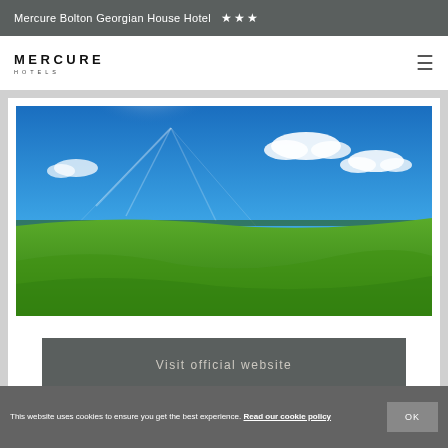Mercure Bolton Georgian House Hotel ★★★
[Figure (logo): Mercure Hotels logo with MERCURE text and HOTELS subtitle]
[Figure (photo): Wide panoramic landscape photo showing a green grassy field under a bright blue sky with scattered white clouds and sunbeams]
Visit official website
This website uses cookies to ensure you get the best experience. Read our cookie policy